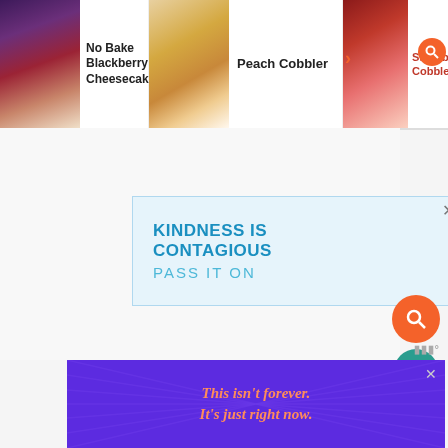[Figure (screenshot): Website navigation strip showing three dessert items: No Bake Blackberry Cheesecake, Peach Cobbler, and Strawberry Cobbler with food thumbnail images]
[Figure (screenshot): Advertisement banner with light blue background reading KINDNESS IS CONTAGIOUS PASS IT ON with close X button]
[Figure (screenshot): Floating orange search button, teal heart button with 19.8K count, and white share button on right side]
[Figure (screenshot): Bottom banner advertisement with purple background and diagonal lines reading 'This isn't forever. It's just right now.' in orange italic text with close X button]
[Figure (logo): Small logo watermark in bottom right corner]